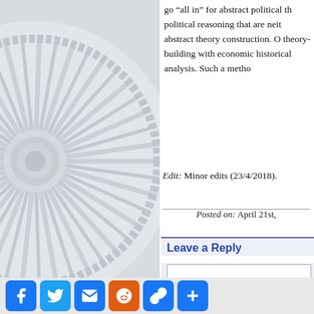[Figure (photo): Decorative architectural rosette/sunburst ceiling medallion in white, shown as a large circular ornament with radiating flutes, occupying the left half of the page.]
go “all in” for abstract political th political reasoning that are neit abstract theory construction. O theory-building with economic historical analysis. Such a metho
Edit: Minor edits (23/4/2018).
Posted on: April 21st,
Leave a Reply
published) (required)
[Figure (other): Social sharing buttons bar: Facebook, Twitter, Email, Reddit, Share, and Plus buttons in blue/orange rounded square icons.]